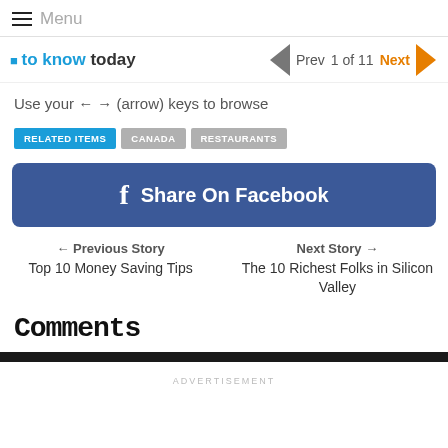≡ Menu
[Figure (screenshot): Partial site logo with blue text and navigation arrows: Prev | 1 of 11 | Next]
Use your ← → (arrow) keys to browse
RELATED ITEMS | CANADA | RESTAURANTS
[Figure (infographic): Share On Facebook button with Facebook logo icon]
← Previous Story
Top 10 Money Saving Tips
Next Story →
The 10 Richest Folks in Silicon Valley
Comments
ADVERTISEMENT